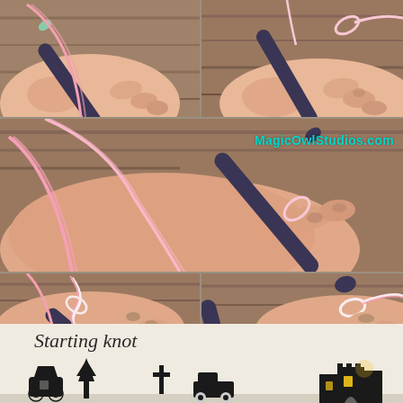[Figure (photo): Six-panel photo collage showing step-by-step crochet starting knot technique. Top-left: hand holding dark blue crochet hook with pink yarn. Top-right: hand with yarn looped over dark hook. Middle: wide shot of hand with pink yarn loop around fingers and dark hook. Bottom-left: hand forming a knot with white/pink yarn on hook. Bottom-right: close-up of yarn looped on dark hook tip. Watermark reads MagicOwlStudios.com in teal text.]
Starting knot